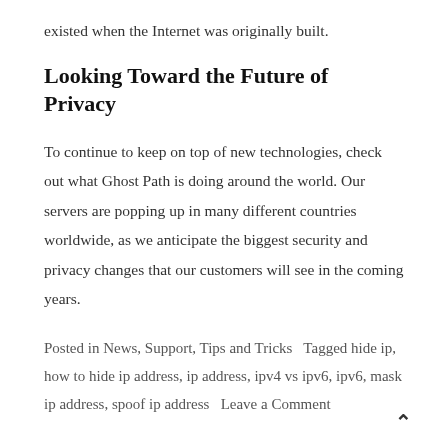existed when the Internet was originally built.
Looking Toward the Future of Privacy
To continue to keep on top of new technologies, check out what Ghost Path is doing around the world. Our servers are popping up in many different countries worldwide, as we anticipate the biggest security and privacy changes that our customers will see in the coming years.
Posted in News, Support, Tips and Tricks   Tagged hide ip, how to hide ip address, ip address, ipv4 vs ipv6, ipv6, mask ip address, spoof ip address   Leave a Comment